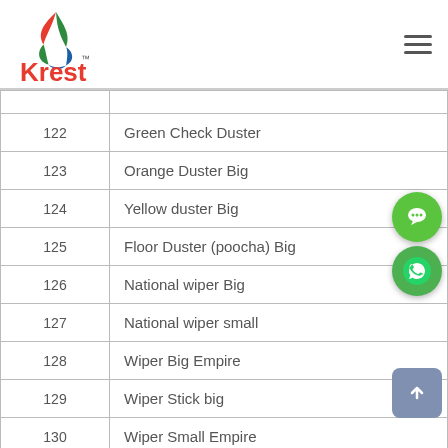Krest
| # | Product |
| --- | --- |
| 122 | Green Check Duster |
| 123 | Orange Duster Big |
| 124 | Yellow  duster Big |
| 125 | Floor Duster (poocha) Big |
| 126 | National wiper Big |
| 127 | National wiper small |
| 128 | Wiper Big Empire |
| 129 | Wiper Stick big |
| 130 | Wiper Small Empire |
| 131 | Kitchen Wiper |